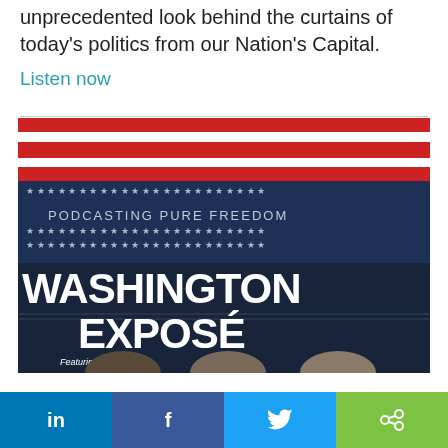unprecedented look behind the curtains of today's politics from our Nation's Capital.
Listen now
[Figure (photo): Washington Exposé podcast cover art. Dark navy background with rows of white stars, red and white stripes at the top. Text reads 'PODCASTING PURE FREEDOM' and large bold text 'WASHINGTON EXPOSÉ'. Bottom shows partial faces of three men with 'Featuring' label.]
[Figure (infographic): Social share bar with four buttons: LinkedIn (blue), Facebook (dark blue), Twitter (light blue), Share (green)]